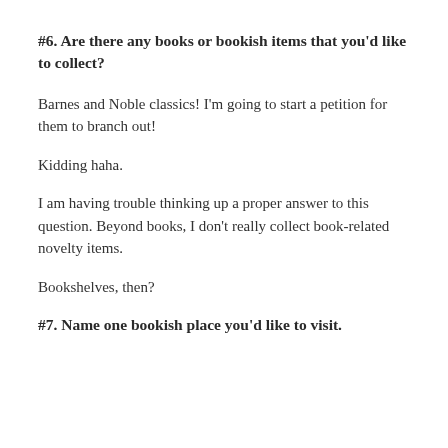#6. Are there any books or bookish items that you'd like to collect?
Barnes and Noble classics! I'm going to start a petition for them to branch out!
Kidding haha.
I am having trouble thinking up a proper answer to this question. Beyond books, I don't really collect book-related novelty items.
Bookshelves, then?
#7. Name one bookish place you'd like to visit.